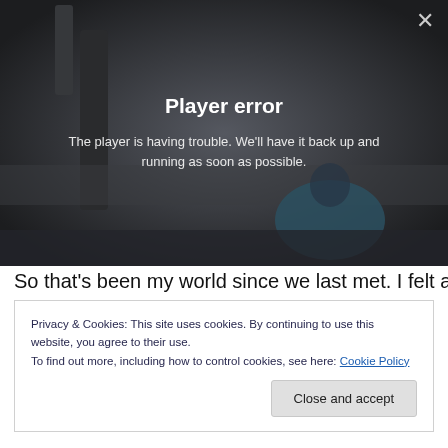[Figure (screenshot): Video player with dark background showing a foggy outdoor scene. A white X close button is in the top right corner.]
Player error
The player is having trouble. We'll have it back up and running as soon as possible.
So that’s been my world since we last met.  I felt a void not
Privacy & Cookies: This site uses cookies. By continuing to use this website, you agree to their use.
To find out more, including how to control cookies, see here: Cookie Policy
Close and accept